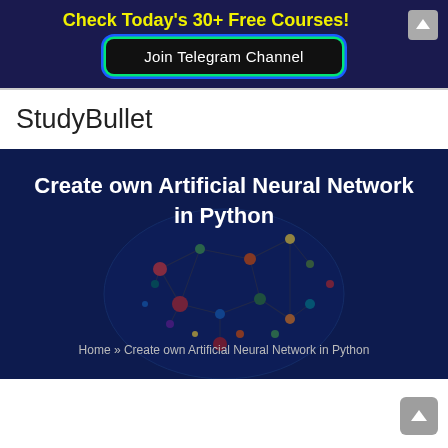Check Today's 30+ Free Courses!
Join Telegram Channel
StudyBullet
[Figure (illustration): Dark blue hero banner with a neural network brain illustration overlay. Large white bold text reads: Create own Artificial Neural Network in Python. Below, breadcrumb text reads: Home » Create own Artificial Neural Network in Python.]
Home » Create own Artificial Neural Network in Python